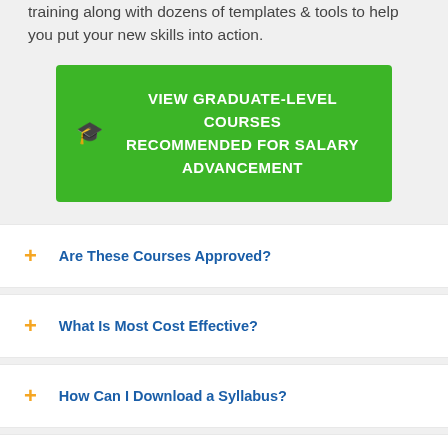training along with dozens of templates & tools to help you put your new skills into action.
VIEW GRADUATE-LEVEL COURSES RECOMMENDED FOR SALARY ADVANCEMENT
Are These Courses Approved?
What Is Most Cost Effective?
How Can I Download a Syllabus?
Will I Receive A Transcript?